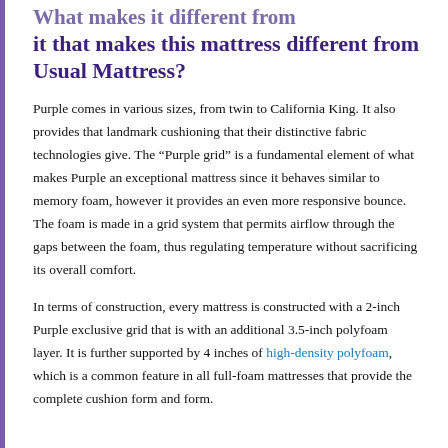What makes it different from Usual Mattress? it that makes this mattress different from Usual Mattress?
Purple comes in various sizes, from twin to California King. It also provides that landmark cushioning that their distinctive fabric technologies give. The “Purple grid” is a fundamental element of what makes Purple an exceptional mattress since it behaves similar to memory foam, however it provides an even more responsive bounce. The foam is made in a grid system that permits airflow through the gaps between the foam, thus regulating temperature without sacrificing its overall comfort.
In terms of construction, every mattress is constructed with a 2-inch Purple exclusive grid that is with an additional 3.5-inch polyfoam layer. It is further supported by 4 inches of high-density polyfoam, which is a common feature in all full-foam mattresses that provide the complete cushion form and form.